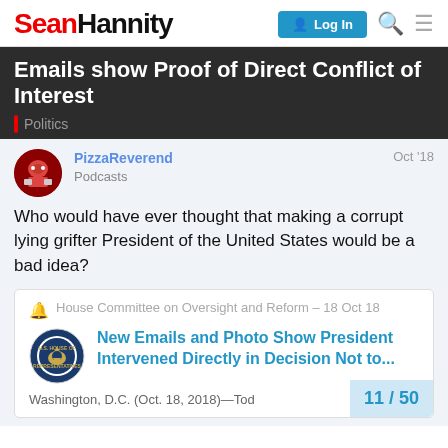Sean Hannity — Log In
Emails show Proof of Direct Conflict of Interest
Politics
PizzaReverend
Podcasts
Oct '18
Who would have ever thought that making a corrupt lying grifter President of the United States would be a bad idea?
House Committee on Oversight and Reform – 18 Oct 18
New Emails and Photo Show President Intervened Directly in Decision Not to...
Washington, D.C. (Oct. 18, 2018)—Tod
11 / 50